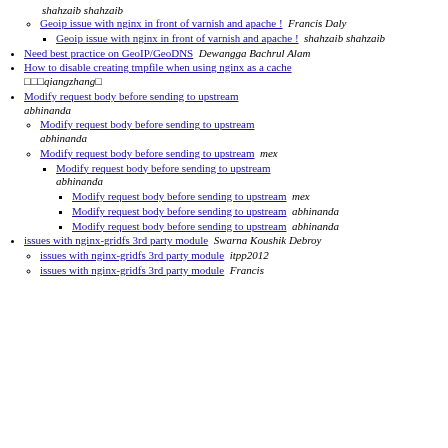shahzaib shahzaib
Geoip issue with nginx in front of varnish and apache !  Francis Daly
Geoip issue with nginx in front of varnish and apache !  shahzaib shahzaib
Need best practice on GeoIP/GeoDNS  Dewangga Bachrul Alam
How to disable creating tmpfile when using nginx as a cache  qiangzhang
Modify request body before sending to upstream  abhinanda
Modify request body before sending to upstream  abhinanda
Modify request body before sending to upstream  mex
Modify request body before sending to upstream  abhinanda
Modify request body before sending to upstream  mex
Modify request body before sending to upstream  abhinanda
Modify request body before sending to upstream  abhinanda
issues with nginx-gridfs 3rd party module  Swarna Koushik Debroy
issues with nginx-gridfs 3rd party module  itpp2012
issues with nginx-gridfs 3rd party module  Francis